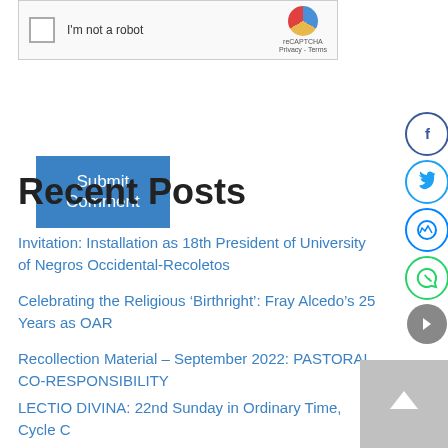[Figure (screenshot): reCAPTCHA widget with checkbox labeled 'I'm not a robot']
Submit Comment
Recent Posts
Invitation: Installation as 18th President of University of Negros Occidental-Recoletos
Celebrating the Religious ‘Birthright’: Fray Alcedo’s 25 Years as OAR
Recollection Material – September 2022: PASTORAL CO-RESPONSIBILITY
LECTIO DIVINA: 22nd Sunday in Ordinary Time, Cycle C
Invitation: Inauguration of the New Parish of St. Augustine of Hippo Ledo